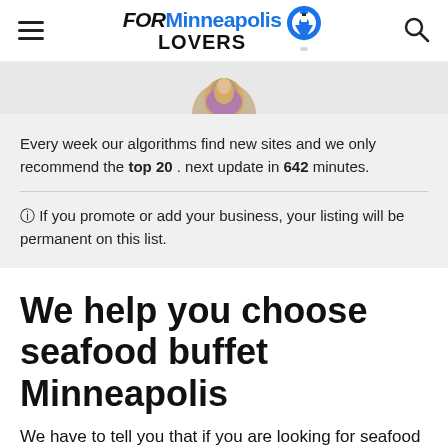FOR Minneapolis LOVERS
[Figure (illustration): Circular avatar illustration with purple/tan coloring, partially cropped at top]
Every week our algorithms find new sites and we only recommend the top 20 . next update in 642 minutes.
ℹ If you promote or add your business, your listing will be permanent on this list.
We help you choose seafood buffet Minneapolis
We have to tell you that if you are looking for seafood buffet Minneapolis, you have come to the right place. We can't talk about Minneapolis without talking about St.